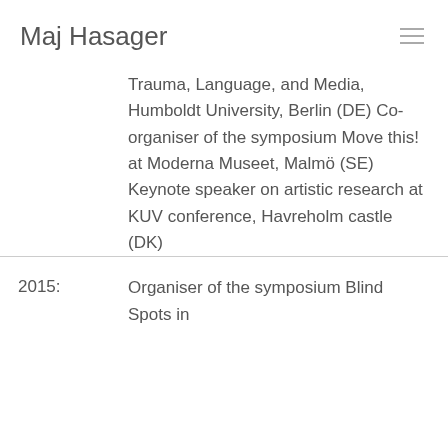Maj Hasager
Trauma, Language, and Media, Humboldt University, Berlin (DE) Co-organiser of the symposium Move this! at Moderna Museet, Malmö (SE) Keynote speaker on artistic research at KUV conference, Havreholm castle (DK)
2015: Organiser of the symposium Blind Spots in